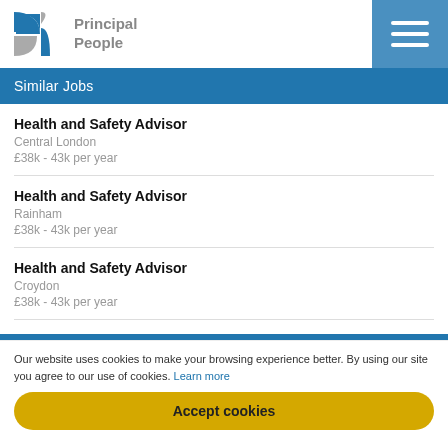[Figure (logo): Principal People logo with blue cross/shield icon and grey text]
Similar Jobs
Health and Safety Advisor
Central London
£38k - 43k per year
Health and Safety Advisor
Rainham
£38k - 43k per year
Health and Safety Advisor
Croydon
£38k - 43k per year
Our website uses cookies to make your browsing experience better. By using our site you agree to our use of cookies. Learn more
Accept cookies